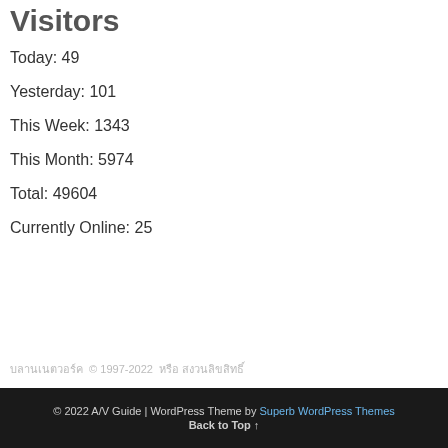Visitors
Today: 49
Yesterday: 101
This Week: 1343
This Month: 5974
Total: 49604
Currently Online: 25
© 1997-2022
© 2022 A/V Guide | WordPress Theme by Superb WordPress Themes
Back to Top ↑